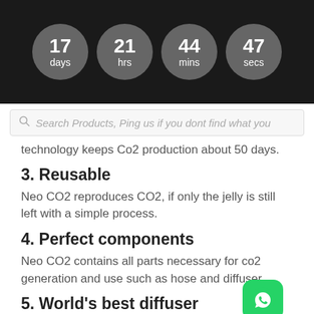[Figure (other): Countdown timer with four dark circles showing 17 days, 21 hrs, 44 mins, 47 secs on a black background]
[Figure (screenshot): Search bar with placeholder text: Search Products, Ping us if you dont find what you]
technology keeps Co2 production about 50 days.
3. Reusable
Neo CO2 reproduces CO2, if only the jelly is still left with a simple process.
4. Perfect components
Neo CO2 contains all parts necessary for co2 generation and use such as hose and diffuser
5. World's best diffuser
The Neo CO2 Set includes original Neo Diffuser, the
[Figure (logo): WhatsApp green button icon in bottom right corner]